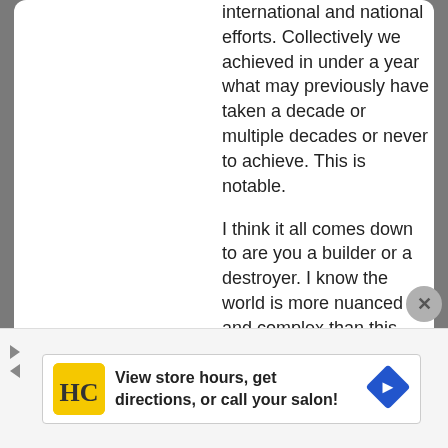international and national efforts. Collectively we achieved in under a year what may previously have taken a decade or multiple decades or never to achieve. This is notable.
I think it all comes down to are you a builder or a destroyer. I know the world is more nuanced and complex than this and lots of people have no choice in the matter but these are the essential questions.
[Figure (screenshot): Advertisement bar showing HC (Hair Club) logo with text 'View store hours, get directions, or call your salon!' and a blue diamond-shaped arrow icon]